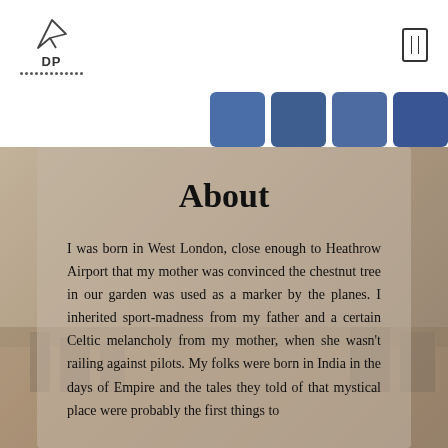[Figure (logo): DP logo with paper plane icon and dotted underline]
[Figure (other): Menu/hamburger rectangle icon in top right]
[Figure (other): Four blue squares in a row on the right side]
About
I was born in West London, close enough to Heathrow Airport that my mother was convinced the chestnut tree in our garden was used as a marker by the planes. I inherited sport-madness from my father and a certain Celtic melancholy from my mother, when she wasn't railing against pilots. My folks were born in India in the days of Empire and the tales they told of that mystical place were probably the first things to